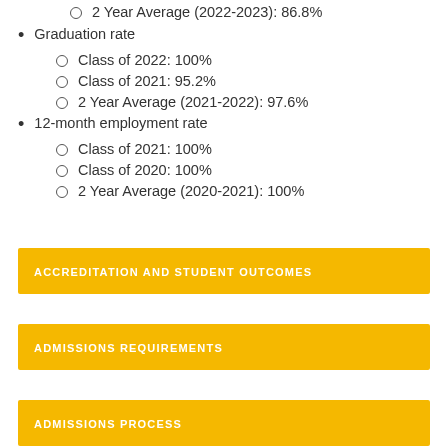2 Year Average (2022-2023): 86.8%
Graduation rate
Class of 2022: 100%
Class of 2021: 95.2%
2 Year Average (2021-2022): 97.6%
12-month employment rate
Class of 2021: 100%
Class of 2020: 100%
2 Year Average (2020-2021): 100%
ACCREDITATION AND STUDENT OUTCOMES
ADMISSIONS REQUIREMENTS
ADMISSIONS PROCESS